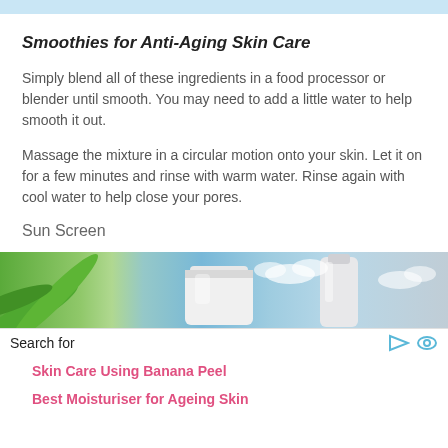Smoothies for Anti-Aging Skin Care
Simply blend all of these ingredients in a food processor or blender until smooth. You may need to add a little water to help smooth it out.
Massage the mixture in a circular motion onto your skin. Let it on for a few minutes and rinse with warm water. Rinse again with cool water to help close your pores.
Sun Screen
[Figure (photo): Photo of skin care products including aloe vera leaves and cream containers against a light blue sky background]
Search for
Skin Care Using Banana Peel
Best Moisturiser for Ageing Skin